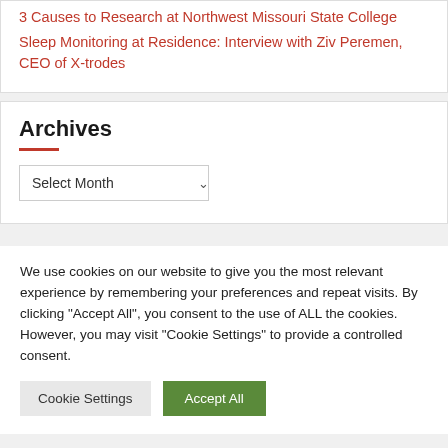3 Causes to Research at Northwest Missouri State College
Sleep Monitoring at Residence: Interview with Ziv Peremen, CEO of X-trodes
Archives
Select Month
We use cookies on our website to give you the most relevant experience by remembering your preferences and repeat visits. By clicking "Accept All", you consent to the use of ALL the cookies. However, you may visit "Cookie Settings" to provide a controlled consent.
Cookie Settings
Accept All